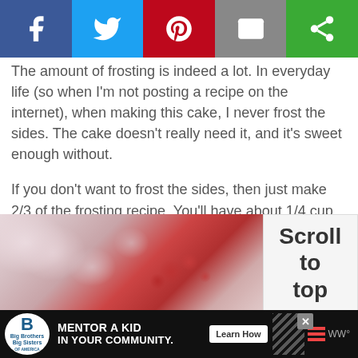[Figure (infographic): Social media share bar with Facebook (blue), Twitter (light blue), Pinterest (red), Email (gray), and a green share button]
The amount of frosting is indeed a lot. In everyday life (so when I'm not posting a recipe on the internet), when making this cake, I never frost the sides. The cake doesn't really need it, and it's sweet enough without.
If you don't want to frost the sides, then just make 2/3 of the frosting recipe. You'll have about 1/4 cup leftover.
You could probably even make just 1/2 of the frosting recipe, and use a little less on the top.
[Figure (photo): Photo of a cake with flowers and berries, partially visible, with a 'Scroll to top' box on the right]
[Figure (infographic): Advertisement banner: Big Brothers Big Sisters - Mentor a Kid in Your Community with Learn How button]